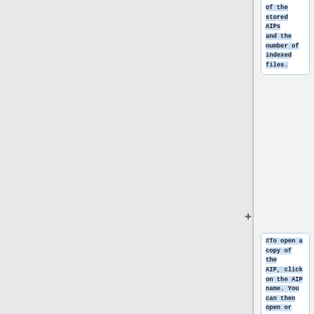of the stored AIPs and the number of indexed files.
#To open a copy of the AIP, click on the AIP name. You can then open or download the zipped AIP.
#To search the AIP index, use the search bar at the